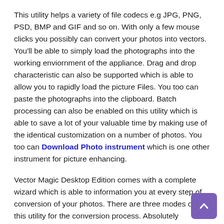This utility helps a variety of file codecs e.g JPG, PNG, PSD, BMP and GIF and so on. With only a few mouse clicks you possibly can convert your photos into vectors. You'll be able to simply load the photographs into the working enviornment of the appliance. Drag and drop characteristic can also be supported which is able to allow you to rapidly load the picture Files. You too can paste the photographs into the clipboard. Batch processing can also be enabled on this utility which is able to save a lot of your valuable time by making use of the identical customization on a number of photos. You too can Download Photo instrument which is one other instrument for picture enhancing.
Vector Magic Desktop Edition comes with a complete wizard which is able to information you at every step of conversion of your photos. There are three modes on this utility for the conversion process. Absolutely Computerized mode will allow you to transform the photographs into vectors with only a single click on with default settings. Then there's a Primary mode which require consumer intervention a number of occasions after loading the picture you should specify the kind of picture and to pick the enter/output method. Adobe Photoshop CS